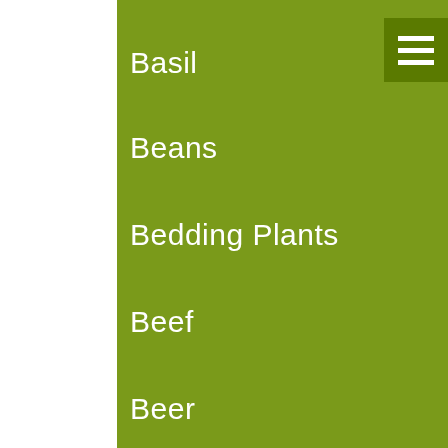Basil
Beans
Bedding Plants
Beef
Beer
Beets
Blueberries
Bok Choy
Broccoli
Broccolini
Brussels Sprouts
Cabbage